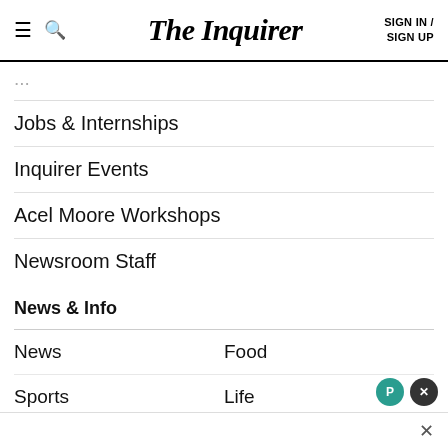The Inquirer | SIGN IN / SIGN UP
Jobs & Internships
Inquirer Events
Acel Moore Workshops
Newsroom Staff
News & Info
News
Food
Sports
Life
Entertainment
Opinion
Business
Archives
Health
Special Reports